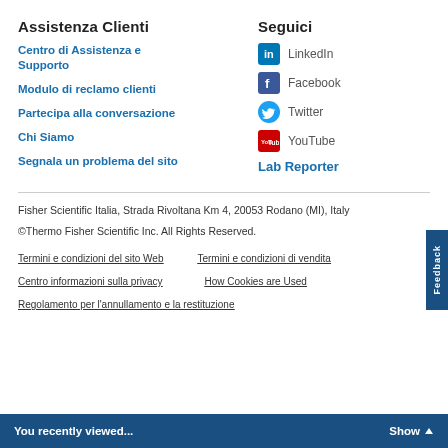Assistenza Clienti
Centro di Assistenza e Supporto
Modulo di reclamo clienti
Partecipa alla conversazione
Chi Siamo
Segnala un problema del sito
Seguici
LinkedIn
Facebook
Twitter
YouTube
Lab Reporter
Fisher Scientific Italia, Strada Rivoltana Km 4, 20053 Rodano (MI), Italy
©Thermo Fisher Scientific Inc. All Rights Reserved.
Termini e condizioni del sito Web
Termini e condizioni di vendita
Centro informazioni sulla privacy
How Cookies are Used
Regolamento per l'annullamento e la restituzione
You recently viewed...   Show